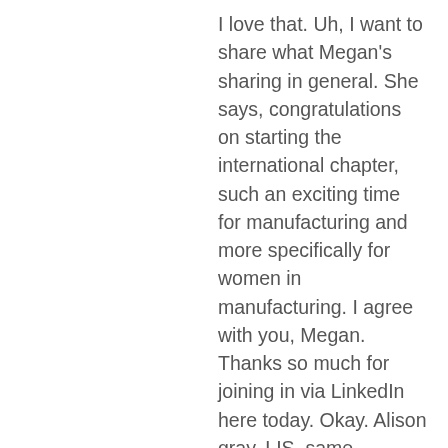I love that. Uh, I want to share what Megan's sharing in general. She says, congratulations on starting the international chapter, such an exciting time for manufacturing and more specifically for women in manufacturing. I agree with you, Megan. Thanks so much for joining in via LinkedIn here today. Okay. Alison gray, LIS, same question. And Greg, you're not getting that as question either. I'm going to ask you to ask the U2, um, Alison gray list. If you had that same opportunity, the stage is yours. What, what are a